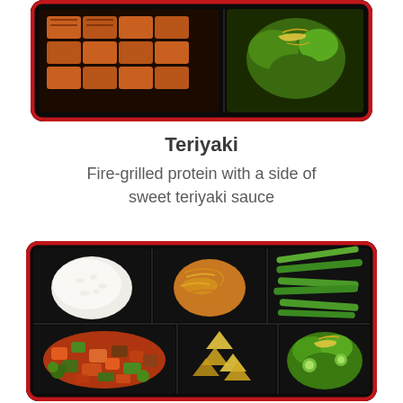[Figure (photo): Top portion of a Japanese bento box with red border on black tray showing grilled teriyaki protein on the left and a garnished salad on the right, viewed from above]
Teriyaki
Fire-grilled protein with a side of sweet teriyaki sauce
[Figure (photo): Japanese bento box with red border on black tray showing six compartments: white rice (top left), noodles (top center), green beans (top right), stir-fried vegetables with protein in sauce (bottom left), wonton/dumpling chips (bottom center), and a garden salad with cucumber (bottom right), viewed from above]